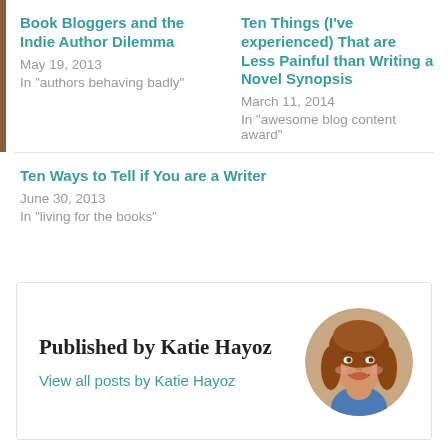Book Bloggers and the Indie Author Dilemma
May 19, 2013
In "authors behaving badly"
Ten Things (I've experienced) That are Less Painful than Writing a Novel Synopsis
March 11, 2014
In "awesome blog content award"
Ten Ways to Tell if You are a Writer
June 30, 2013
In "living for the books"
Published by Katie Hayoz
View all posts by Katie Hayoz
[Figure (photo): Circular portrait photo of Katie Hayoz, a woman with long reddish-brown hair, smiling, wearing a blue top]